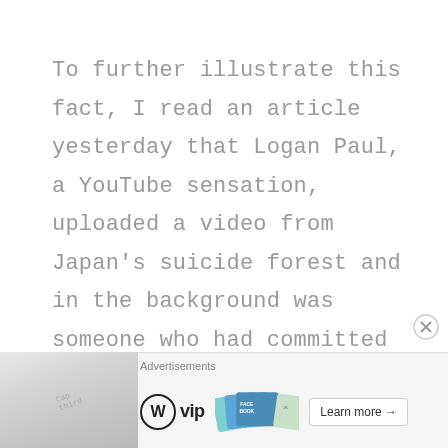To further illustrate this fact, I read an article yesterday that Logan Paul, a YouTube sensation, uploaded a video from Japan's suicide forest and in the background was someone who had committed suicide. He seemed
[Figure (other): Advertisement banner at the bottom of the page showing WordPress VIP logo, a thumbnail image with social media card designs (Facebook), and a 'Learn more' button. An X/close button appears in the upper right of the ad area. 'Advertisements' label appears above the ad content.]